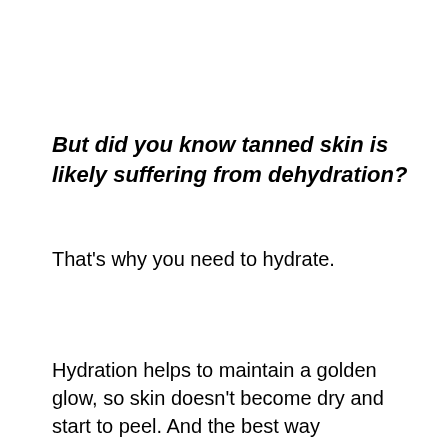But did you know tanned skin is likely suffering from dehydration?
That's why you need to hydrate.
Hydration helps to maintain a golden glow, so skin doesn't become dry and start to peel. And the best way